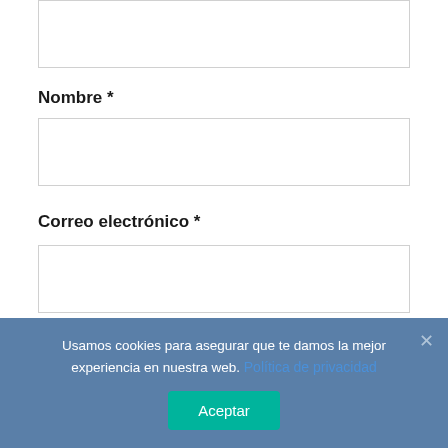[Figure (screenshot): Top portion of a web form showing a text input box (partially visible at top)]
Nombre *
[Figure (screenshot): Input field box for Nombre]
Correo electrónico *
[Figure (screenshot): Input field box for Correo electrónico]
Web
[Figure (screenshot): Input field box for Web (partially visible)]
Usamos cookies para asegurar que te damos la mejor experiencia en nuestra web. Política de privacidad
Aceptar